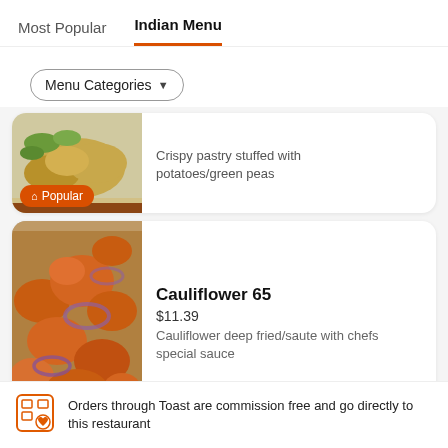Most Popular  Indian Menu
Menu Categories ▼
Crispy pastry stuffed with potatoes/green peas
Popular
Cauliflower 65
$11.39
Cauliflower deep fried/saute with chefs special sauce
Non Veg Appetizer
Orders through Toast are commission free and go directly to this restaurant